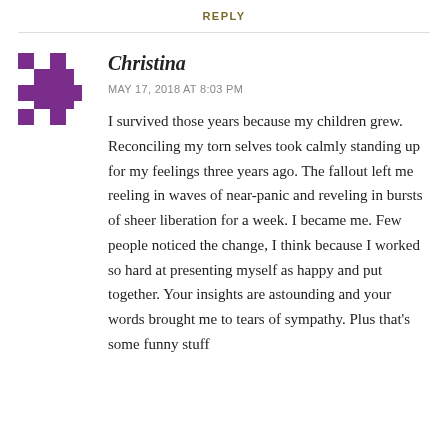REPLY
[Figure (illustration): Purple checkerboard-patterned avatar icon for user Christina]
Christina
MAY 17, 2018 AT 8:03 PM
I survived those years because my children grew. Reconciling my torn selves took calmly standing up for my feelings three years ago. The fallout left me reeling in waves of near-panic and reveling in bursts of sheer liberation for a week. I became me. Few people noticed the change, I think because I worked so hard at presenting myself as happy and put together. Your insights are astounding and your words brought me to tears of sympathy. Plus that's some funny stuff